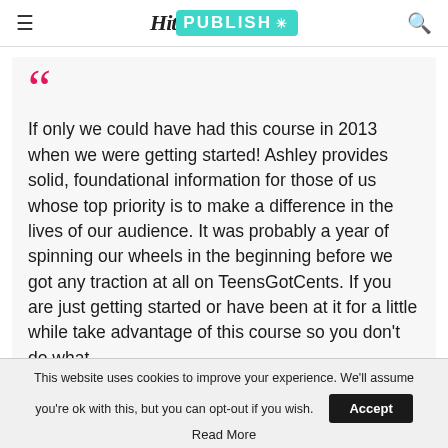Hit PUBLISH
“If only we could have had this course in 2013 when we were getting started! Ashley provides solid, foundational information for those of us whose top priority is to make a difference in the lives of our audience. It was probably a year of spinning our wheels in the beginning before we got any traction at all on TeensGotCents. If you are just getting started or have been at it for a little while take advantage of this course so you don’t do what
This website uses cookies to improve your experience. We’ll assume you’re ok with this, but you can opt-out if you wish. Accept Read More